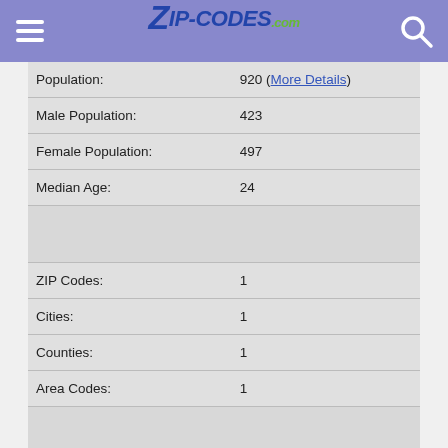ZIP-CODES.com
| Field | Value |
| --- | --- |
| Population: | 920 (More Details) |
| Male Population: | 423 |
| Female Population: | 497 |
| Median Age: | 24 |
|  |  |
| ZIP Codes: | 1 |
| Cities: | 1 |
| Counties: | 1 |
| Area Codes: | 1 |
|  |  |
| Total Area: | 460 square miles (county) |
| Land Area: | 458 square miles (county) |